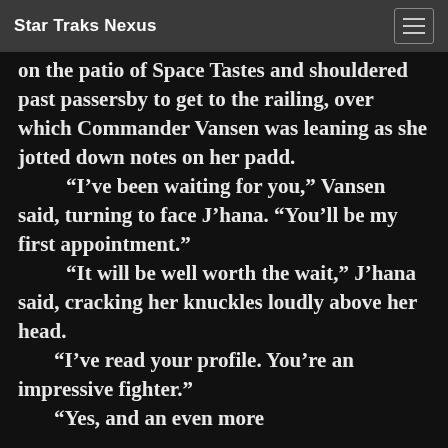Star Traks Nexus
on the patio of Space Tastes and shouldered past passersby to get to the railing, over which Commander Vansen was leaning as she jotted down notes on her padd. “I’ve been waiting for you,” Vansen said, turning to face J’hana. “You’ll be my first appointment.” “It will be well worth the wait,” J’hana said, cracking her knuckles loudly above her head. “I’ve read your profile. You’re an impressive fighter.” “Yes, and an even more